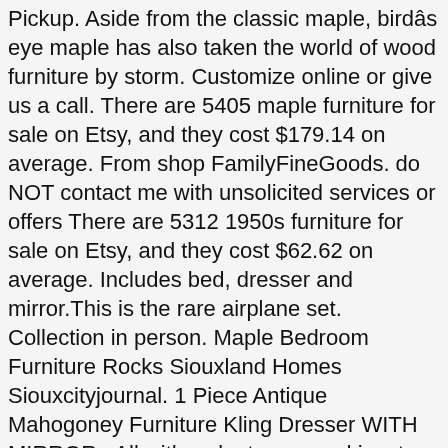Pickup. Aside from the classic maple, birdâs eye maple has also taken the world of wood furniture by storm. Customize online or give us a call. There are 5405 maple furniture for sale on Etsy, and they cost $179.14 on average. From shop FamilyFineGoods. do NOT contact me with unsolicited services or offers There are 5312 1950s furniture for sale on Etsy, and they cost $62.62 on average. Includes bed, dresser and mirror.This is the rare airplane set. Collection in person. Maple Bedroom Furniture Rocks Siouxland Homes Siouxcityjournal. 1 Piece Antique Mahogoney Furniture Kling Dresser WITH MIRROR . All with walnut veneered inset plinth bases,to include a shaped headboard, a pair of bedside cabinets, each with a drawer and cupboard doo Ethan Allen Pair Twin Size Headboards Footboards Heirloom Collection RARE FIND! Home / Pre 1970’s Furniture / Retro 1950’s, 60’s & 70’s Furniture. Antique Double Bow Front Dixie Bedroom Furniture Mahogany Dresser With Mirror It on eBay. $385.00. Of course, the joints are all doweled and spliced. Sort. Global shipping available. There seems to be a problem